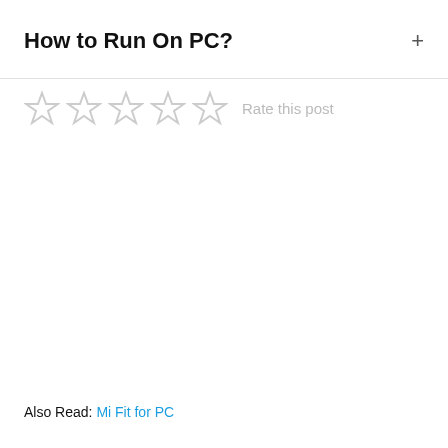How to Run On PC?
[Figure (other): Five empty star rating icons followed by 'Rate this post' text in grey]
Also Read: Mi Fit for PC